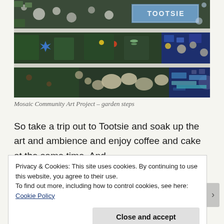[Figure (photo): Photograph of mosaic community art project on garden steps, showing three horizontal strips of decorative mosaic tiles with colorful flowers, stones, blue glass pieces, and a 'Tootsie' text tile in the top strip.]
Mosaic Community Art Project – garden steps
So take a trip out to Tootsie and soak up the art and ambience and enjoy coffee and cake at the same time. And,
Privacy & Cookies: This site uses cookies. By continuing to use this website, you agree to their use.
To find out more, including how to control cookies, see here: Cookie Policy
Close and accept